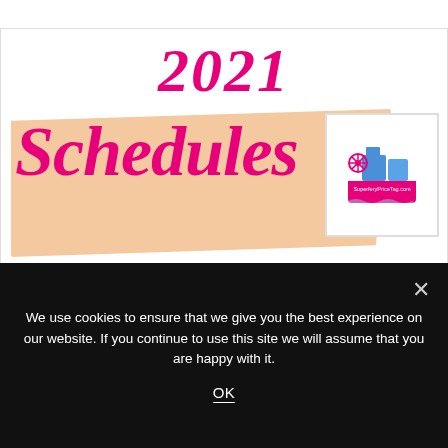[Figure (illustration): Decorative header image featuring '2021 Schedules' in large pink cursive/italic text over a peach-colored banner shape, with a shipping/ferry logo in the top right corner. Logo shows a blue cargo ship with a steering wheel icon and text 'SuperferyPriceTag.com'.]
2Go Travel Shipping Guide 2021
We use cookies to ensure that we give you the best experience on our website. If you continue to use this site we will assume that you are happy with it.
OK